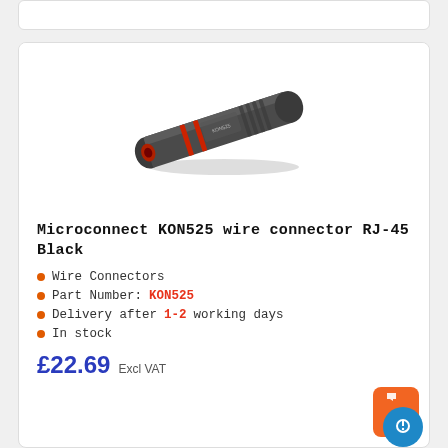[Figure (photo): Microconnect KON525 wire connector RJ-45, a cylindrical black connector with red ring accents, shown in diagonal perspective]
Microconnect KON525 wire connector RJ-45 Black
Wire Connectors
Part Number: KON525
Delivery after 1-2 working days
In stock
£22.69 Excl VAT